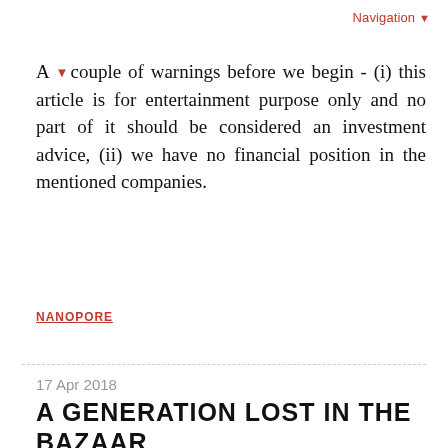Navigation ▼
A couple of warnings before we begin - (i) this article is for entertainment purpose only and no part of it should be considered an investment advice, (ii) we have no financial position in the mentioned companies.
NANOPORE
17 Apr 2018
A GENERATION LOST IN THE BAZAAR
Often I download newly published bioinformatics programs or libraries from the github into my Windows laptop and try to compile them within